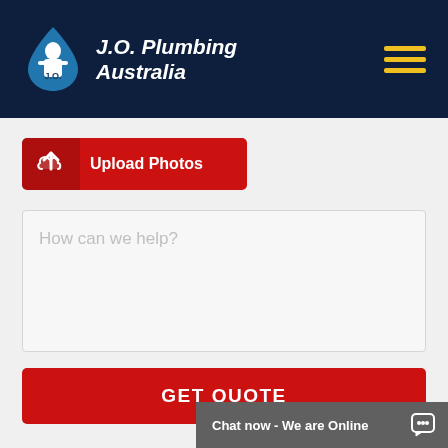[Figure (logo): J.O. Plumbing Australia logo with plumber icon in blue teardrop shape and italic bold white text]
[Figure (other): Hamburger menu icon with three yellow horizontal lines on dark navy background]
[Figure (other): Red Upload Photos button with upload arrow icon]
How can we help?
GET QUOTE
Chat now - We are Online